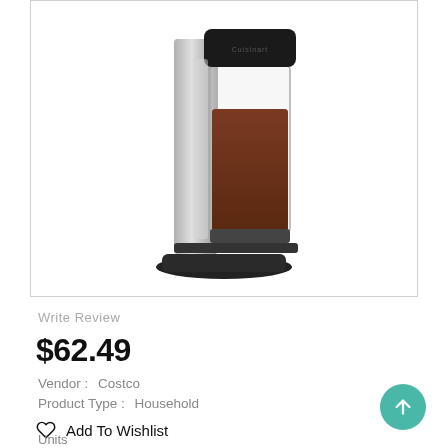[Figure (photo): Cuisinart coffee grinder with stainless steel and black body, clear hopper filled with ground coffee, on a black base]
Write Review
$62.49
Vendor :   Costco
Product Type :   Household
Add To Wishlist
Units